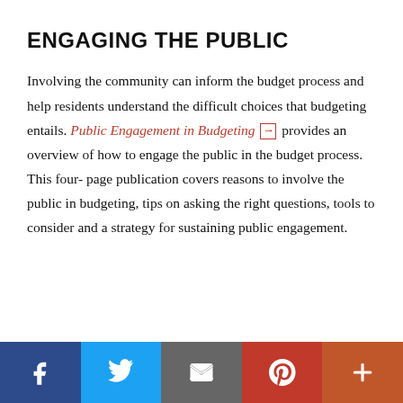ENGAGING THE PUBLIC
Involving the community can inform the budget process and help residents understand the difficult choices that budgeting entails. Public Engagement in Budgeting ➡ provides an overview of how to engage the public in the budget process. This four-page publication covers reasons to involve the public in budgeting, tips on asking the right questions, tools to consider and a strategy for sustaining public engagement.
[Figure (infographic): Social media sharing bar with five buttons: Facebook (dark blue), Twitter (light blue), Email (gray), Pinterest (red), and More (orange-red)]